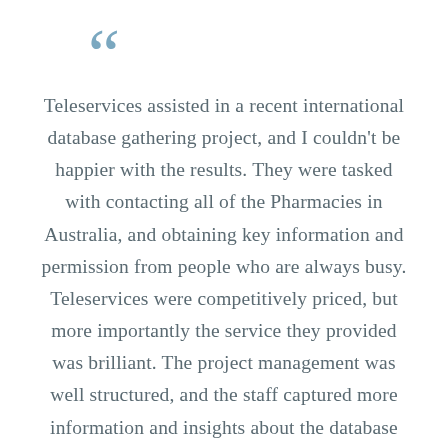“Teleservices assisted in a recent international database gathering project, and I couldn’t be happier with the results. They were tasked with contacting all of the Pharmacies in Australia, and obtaining key information and permission from people who are always busy. Teleservices were competitively priced, but more importantly the service they provided was brilliant. The project management was well structured, and the staff captured more information and insights about the database than we could have hoped for.